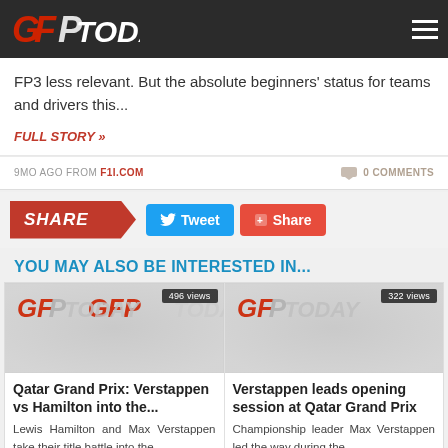GFToday
FP3 less relevant. But the absolute beginners' status for teams and drivers this...
FULL STORY »
9MO AGO FROM F1I.COM    0 COMMENTS
SHARE  Tweet  Share
YOU MAY ALSO BE INTERESTED IN...
[Figure (screenshot): GFToday logo placeholder image with '496 views' badge]
Qatar Grand Prix: Verstappen vs Hamilton into the...
Lewis Hamilton and Max Verstappen take their title battle into the...
[Figure (screenshot): GFToday logo placeholder image with '322 views' badge]
Verstappen leads opening session at Qatar Grand Prix
Championship leader Max Verstappen led the way during the...